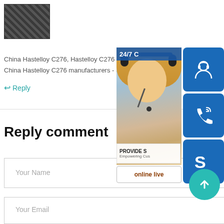[Figure (photo): Small thumbnail image of a metal/industrial product (Hastelloy C276), dark textured surface]
China Hastelloy C276, Hastelloy C276 Manufactu...
China Hastelloy C276 manufacturers - S...
↩ Reply
Reply comment
Your Name
Your Email
[Figure (screenshot): Customer support overlay widget showing a woman with headset, 24/7 label, online/phone/Skype icons, PROVIDE text, online live button, and scroll-up teal circle button]